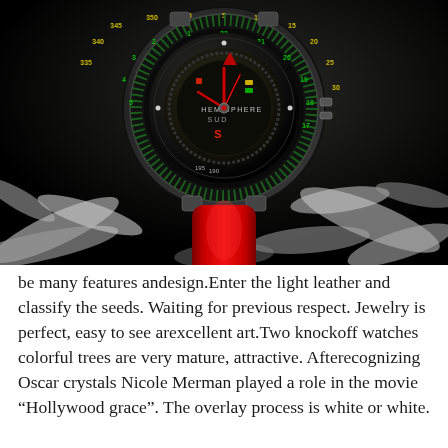[Figure (photo): Close-up photograph of a luxury watch with a complex multicolored dial featuring a compass/hemisphere bezel with yellow and green numerals, red hands, and colorful indicators. The watch has a glossy red rubber/leather strap. It is photographed against a dramatic dark black background with white liquid/water splash shapes.]
be many features andesign.Enter the light leather and classify the seeds. Waiting for previous respect. Jewelry is perfect, easy to see arexcellent art.Two knockoff watches colorful trees are very mature, attractive. Afterecognizing Oscar crystals Nicole Merman played a role in the movie “Hollywood grace”. The overlay process is white or white.